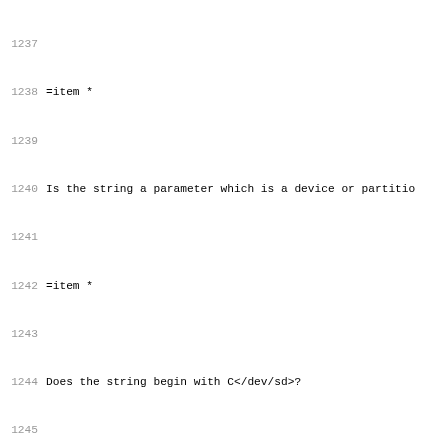1237
1238 =item *
1239
1240 Is the string a parameter which is a device or partitio
1241
1242 =item *
1243
1244 Does the string begin with C</dev/sd>?
1245
1246 =item *
1247
1248 Does the named device exist?  If so, we use that device
1249 However if I<not> then we continue with this algorithm.
1250
1251 =item *
1252
1253 Replace initial C</dev/sd> string with C</dev/hd>.
1254
1255 For example, change C</dev/sda2> to C</dev/hda2>.
1256
1257 If that named device exists, use it.  If not, continue.
1258
1259 =item *
1260
1261 Replace initial C</dev/sd> string with C</dev/vd>.
1262
1263 If that named device exists, use it.  If not, return an
1264
1265 =back
1266
1267 =head2 PORTABILITY CONCERNS
1268
1269 Altho...